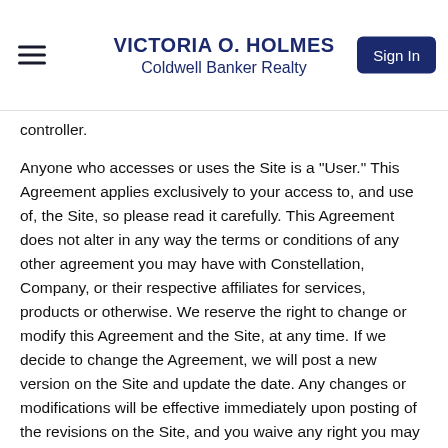VICTORIA O. HOLMES
Coldwell Banker Realty
controller.
Anyone who accesses or uses the Site is a "User." This Agreement applies exclusively to your access to, and use of, the Site, so please read it carefully. This Agreement does not alter in any way the terms or conditions of any other agreement you may have with Constellation, Company, or their respective affiliates for services, products or otherwise. We reserve the right to change or modify this Agreement and the Site, at any time. If we decide to change the Agreement, we will post a new version on the Site and update the date. Any changes or modifications will be effective immediately upon posting of the revisions on the Site, and you waive any right you may have to receive specific notice of such changes or modifications. Your use of the Site following the posting of changes or modifications to the Agreement will constitute your acceptance of the revised Agreement. Therefore, you should frequently